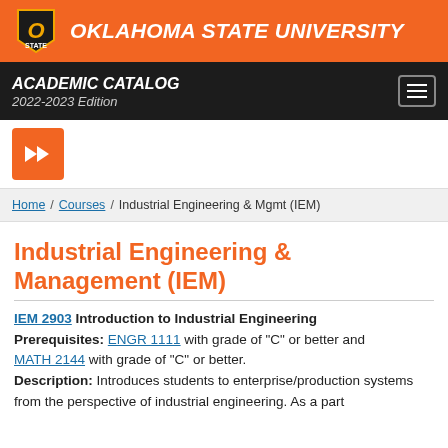OKLAHOMA STATE UNIVERSITY
ACADEMIC CATALOG 2022-2023 Edition
Home / Courses / Industrial Engineering & Mgmt (IEM)
Industrial Engineering & Management (IEM)
IEM 2903 Introduction to Industrial Engineering
Prerequisites: ENGR 1111 with grade of "C" or better and MATH 2144 with grade of "C" or better.
Description: Introduces students to enterprise/production systems from the perspective of industrial engineering. As a part